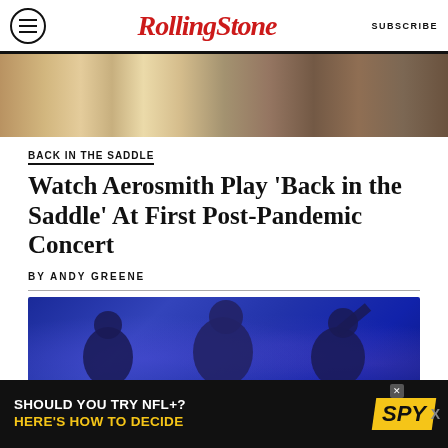RollingStone | SUBSCRIBE
[Figure (photo): Band members performing on stage, top strip photo of Aerosmith]
BACK IN THE SADDLE
Watch Aerosmith Play ‘Back in the Saddle’ At First Post-Pandemic Concert
BY ANDY GREENE
[Figure (photo): Concert performers on stage with blue lighting]
[Figure (other): Advertisement: SHOULD YOU TRY NFL+? HERE'S HOW TO DECIDE | SPY]